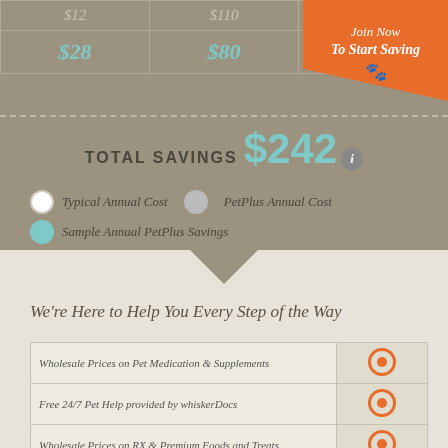|  |  |  |
| --- | --- | --- |
| $12 | $110 |  |
| $28 | $80 | $4... |
[Figure (infographic): Orange banner in top-right corner with text 'Join Now To Start Saving' and paw print icon]
TOTAL SAVINGS $242
[Figure (infographic): Legend with three dots: white (Typical Annual Cost), gray (PetPlus Annual Cost), teal (Sample Annual PetPlus Savings)]
We're Here to Help You Every Step of the Way
|  |  |
| --- | --- |
| Wholesale Prices on Pet Medication & Supplements | ● |
| Free 24/7 Pet Help provided by whiskerDocs | ● |
| Wholesale Prices on RX & Premium Foods and Treats | ● |
| Convenient Medication Pickup Option |  |